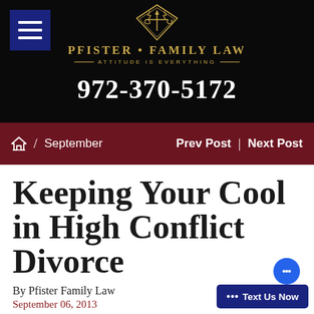[Figure (logo): Pfister Family Law logo with golden emblem, firm name and tagline 'Attitude is Everything', phone number 972-370-5172 on black background]
Home / September   Prev Post | Next Post
Keeping Your Cool in High Conflict Divorce
By Pfister Family Law
September 06, 2013